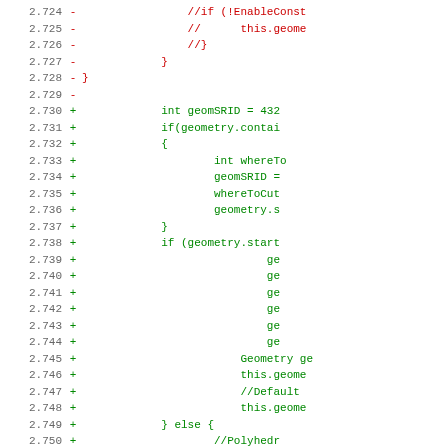[Figure (screenshot): Code diff view showing lines 2.724 to 2.755 with removed lines (red, minus) and added lines (green, plus) in a source code diff format using monospace font.]